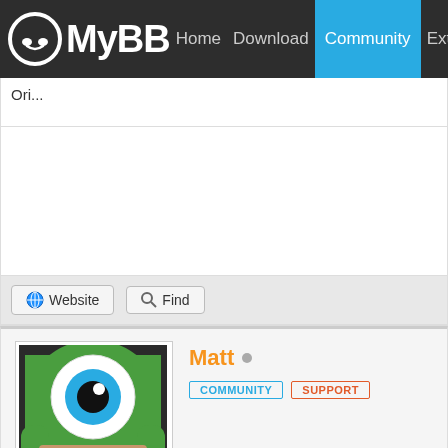MyBB Home Download Community Extend Do...
Ori...
Website   Find
Matt  COMMUNITY  SUPPORT
2008-10-30, 09:15 AM (This post was last modified: 2008-10-30, 09:16 AM by Matt
From memory... make a forum that nobody can see, and then a won't be able to see it on the index at all, but they can see it w